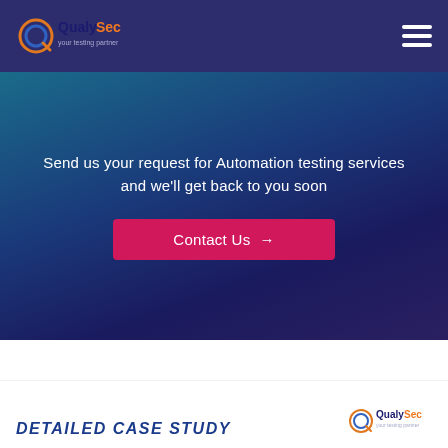QualySec - your testing partner
Send us your request for Automation testing services and we'll get back to you soon
Contact Us →
See Examples Of Our Work
Detailed Case Study